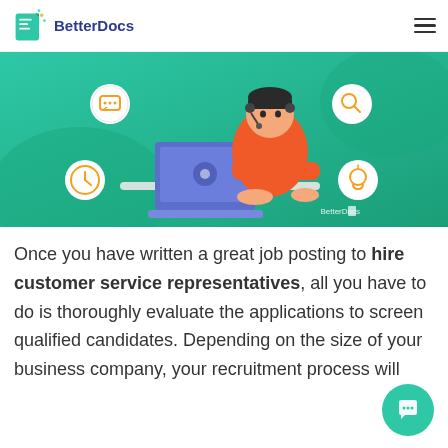BetterDocs
[Figure (illustration): BetterDocs banner illustration showing a customer service representative wearing a headset, sitting at a laptop on a green gradient background, with icons for chat, search, clock, and lightbulb around the figure. BetterDocs logo in bottom right.]
Once you have written a great job posting to hire customer service representatives, all you have to do is thoroughly evaluate the applications to screen qualified candidates. Depending on the size of your business company, your recruitment process will